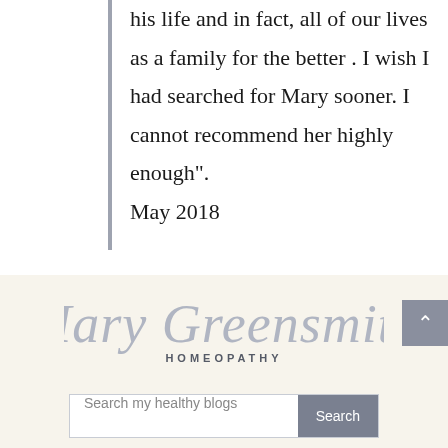his life and in fact, all of our lives as a family for the better . I wish I had searched for Mary sooner. I cannot recommend her highly enough". May 2018
[Figure (logo): Mary Greensmith Homeopathy cursive script logo on cream/beige background]
Search my healthy blogs